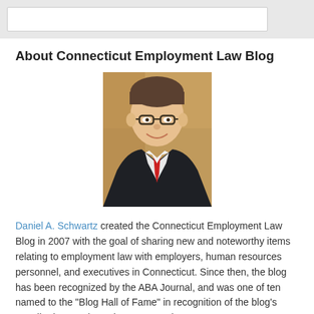[Figure (photo): Search bar / top navigation area]
About Connecticut Employment Law Blog
[Figure (photo): Headshot photo of Daniel A. Schwartz, a man in a dark suit with a red tie and glasses, smiling]
Daniel A. Schwartz created the Connecticut Employment Law Blog in 2007 with the goal of sharing new and noteworthy items relating to employment law with employers, human resources personnel, and executives in Connecticut. Since then, the blog has been recognized by the ABA Journal, and was one of ten named to the "Blog Hall of Fame" in recognition of the blog's contributions and consistency over the years.
Read More